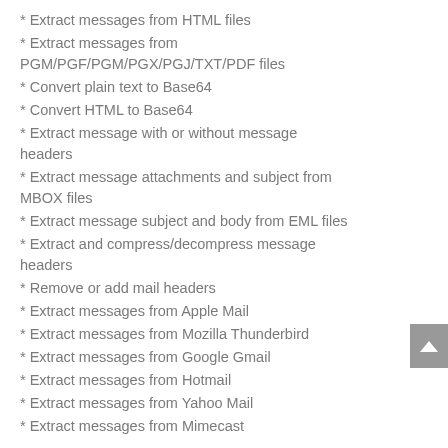* Extract messages from HTML files
* Extract messages from PGM/PGF/PGM/PGX/PGJ/TXT/PDF files
* Convert plain text to Base64
* Convert HTML to Base64
* Extract message with or without message headers
* Extract message attachments and subject from MBOX files
* Extract message subject and body from EML files
* Extract and compress/decompress message headers
* Remove or add mail headers
* Extract messages from Apple Mail
* Extract messages from Mozilla Thunderbird
* Extract messages from Google Gmail
* Extract messages from Hotmail
* Extract messages from Yahoo Mail
* Extract messages from Mimecast